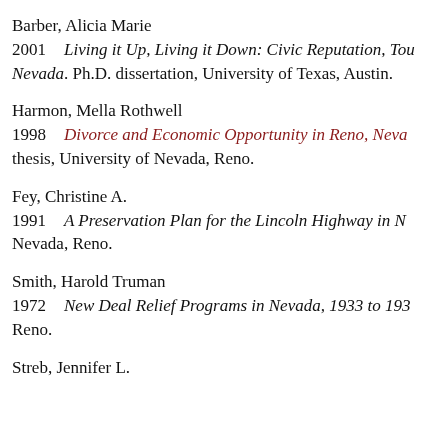Barber, Alicia Marie
2001    Living it Up, Living it Down: Civic Reputation, Tou Nevada. Ph.D. dissertation, University of Texas, Austin.
Harmon, Mella Rothwell
1998    Divorce and Economic Opportunity in Reno, Neva thesis, University of Nevada, Reno.
Fey, Christine A.
1991    A Preservation Plan for the Lincoln Highway in N Nevada, Reno.
Smith, Harold Truman
1972    New Deal Relief Programs in Nevada, 1933 to 193 Reno.
Streb, Jennifer L.